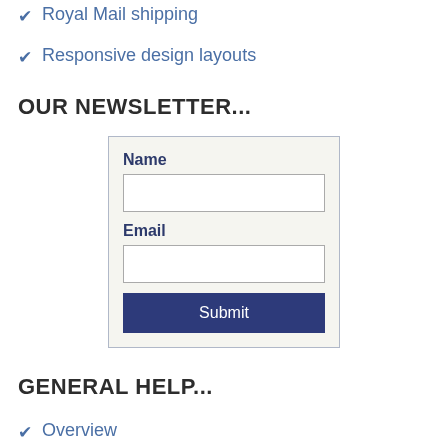Royal Mail shipping
Responsive design layouts
OUR NEWSLETTER...
[Figure (other): Newsletter signup form with Name and Email fields and a Submit button]
GENERAL HELP...
Overview
General help files